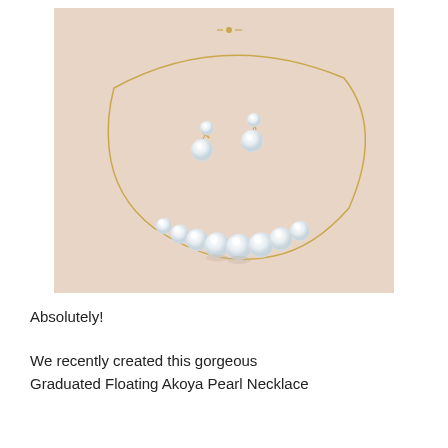[Figure (photo): Product photo of a graduated floating Akoya pearl necklace on a gold wire chain, displayed on a pale blush/beige background, with a pair of pearl drop earrings placed inside the necklace loop.]
Absolutely!
We recently created this gorgeous Graduated Floating Akoya Pearl Necklace